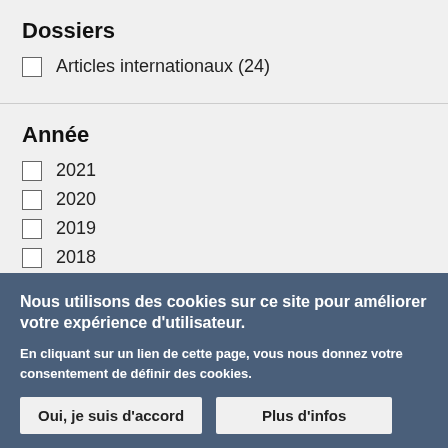Dossiers
Articles internationaux (24)
Année
2021
2020
2019
2018
(-) 2017
(-) 2016
Nous utilisons des cookies sur ce site pour améliorer votre expérience d'utilisateur.
En cliquant sur un lien de cette page, vous nous donnez votre consentement de définir des cookies.
Oui, je suis d'accord   Plus d'infos